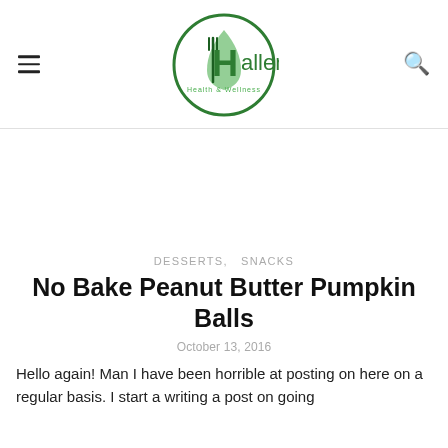Haller Health & Wellness
DESSERTS, SNACKS
No Bake Peanut Butter Pumpkin Balls
October 13, 2016
Hello again! Man I have been horrible at posting on here on a regular basis. I start a writing a post on going